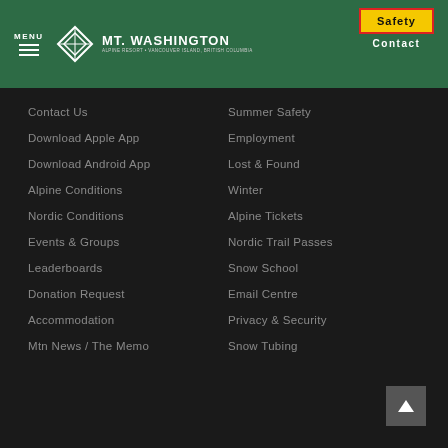[Figure (logo): Mt. Washington Alpine Resort logo with diamond icon and text, on green header bar. Includes MENU hamburger icon on left and Safety/Contact buttons on right.]
Contact Us
Download Apple App
Download Android App
Alpine Conditions
Nordic Conditions
Events & Groups
Leaderboards
Donation Request
Accommodation
Mtn News / The Memo
Summer Safety
Employment
Lost & Found
Winter
Alpine Tickets
Nordic Trail Passes
Snow School
Email Centre
Privacy & Security
Snow Tubing